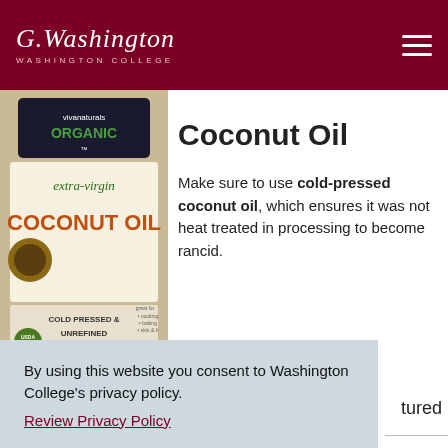Washington College
[Figure (photo): Viva Naturals Organic Extra-Virgin Coconut Oil jar, Cold Pressed & Unrefined label]
Coconut Oil
Make sure to use cold-pressed coconut oil, which ensures it was not heat treated in processing to become rancid.
By using this website you consent to Washington College's privacy policy.
Review Privacy Policy
Dismiss
tured
health